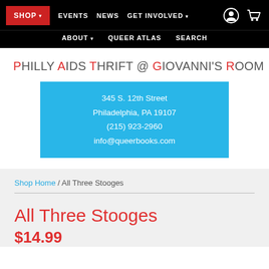SHOP | EVENTS | NEWS | GET INVOLVED | ABOUT | QUEER ATLAS | SEARCH
PHILLY AIDS THRIFT @ GIOVANNI'S ROOM
345 S. 12th Street
Philadelphia, PA 19107
(215) 923-2960
info@queerbooks.com
Shop Home / All Three Stooges
All Three Stooges
$14.99